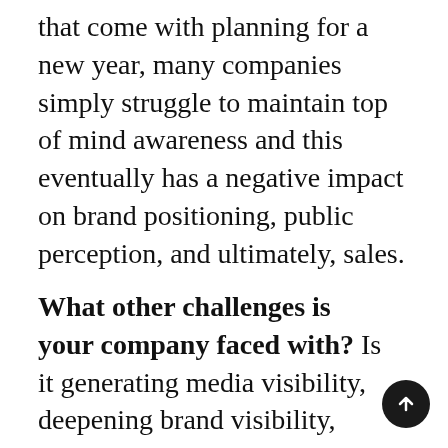that come with planning for a new year, many companies simply struggle to maintain top of mind awareness and this eventually has a negative impact on brand positioning, public perception, and ultimately, sales.
What other challenges is your company faced with? Is it generating media visibility, deepening brand visibility, remaining competitive, making the leap into social media,